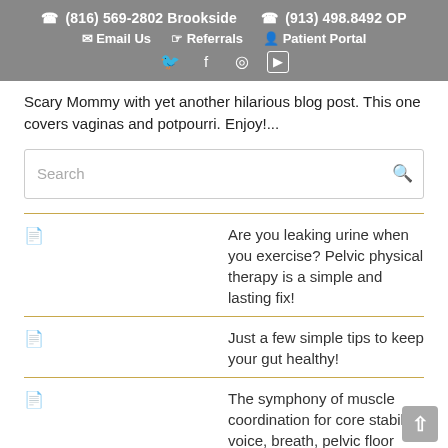(816) 569-2802 Brookside   (913) 498.8492 OP   Email Us   Referrals   Patient Portal
Scary Mommy with yet another hilarious blog post.  This one covers vaginas and potpourri.  Enjoy!...
Are you leaking urine when you exercise? Pelvic physical therapy is a simple and lasting fix!
Just a few simple tips to keep your gut healthy!
The symphony of muscle coordination for core stability: voice, breath, pelvic floor